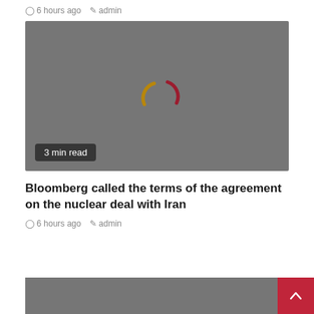6 hours ago  admin
[Figure (screenshot): Gray placeholder image with a loading spinner (red and gold arcs) in the center. A '3 min read' badge is in the bottom-left corner.]
3 min read
Bloomberg called the terms of the agreement on the nuclear deal with Iran
6 hours ago  admin
[Figure (photo): Partial gray placeholder image at the bottom of the page.]